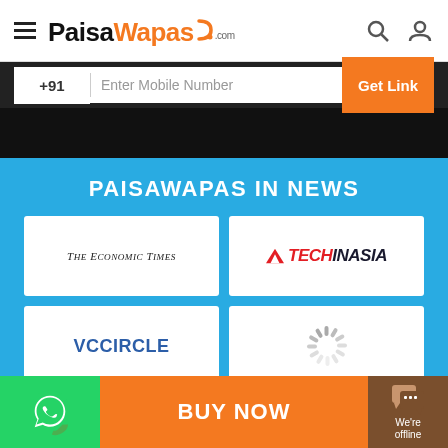[Figure (screenshot): PaisaWapas.com website screenshot showing navbar with logo, mobile number input bar, black band, blue section with PAISAWAPAS IN NEWS heading, media logos (The Economic Times, TechInAsia, VCCircle, loading spinner, Inc42), and bottom bar with WhatsApp, BUY NOW, and We're offline chat widget.]
PAISAWAPAS IN NEWS